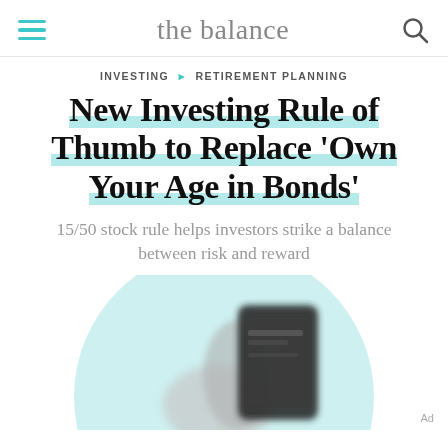the balance
INVESTING ▶ RETIREMENT PLANNING
New Investing Rule of Thumb to Replace 'Own Your Age in Bonds'
15/50 stock rule helps investors strike a balance between risk and reward
[Figure (photo): Blurred photo of a smartphone held in hand, with a teal circular background graphic, partially visible at the bottom of the page.]